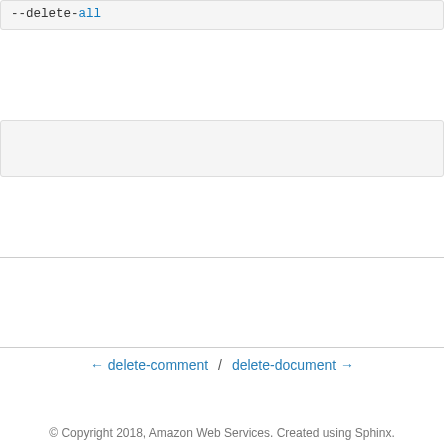--delete-all
← delete-comment / delete-document →
© Copyright 2018, Amazon Web Services. Created using Sphinx.